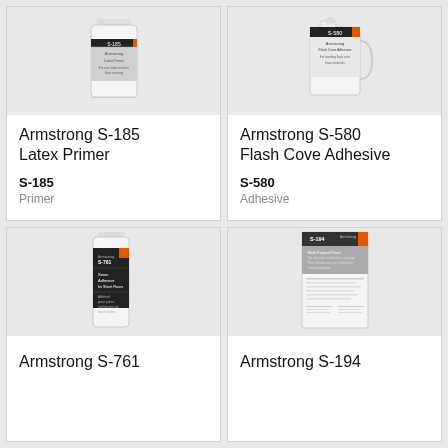[Figure (photo): Armstrong S-185 Latex Primer product bottle]
Armstrong S-185 Latex Primer
S-185
Primer
[Figure (photo): Armstrong S-580 Flash Cove Adhesive product jug]
Armstrong S-580 Flash Cove Adhesive
S-580
Adhesive
[Figure (photo): Armstrong S-761 Seam Adhesive for Sheet Floors product bottle]
Armstrong S-761
[Figure (photo): Armstrong S-194 Multi-Purpose Primer product sheet/label]
Armstrong S-194